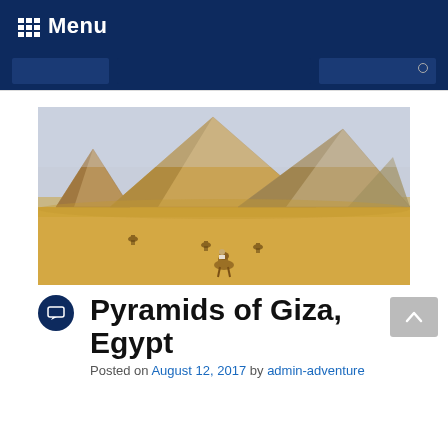Menu
[Figure (photo): Photograph of the Pyramids of Giza, Egypt, with camels and riders in the sandy foreground and three large pyramids against a hazy sky in the background.]
Pyramids of Giza, Egypt
Posted on August 12, 2017 by admin-adventure